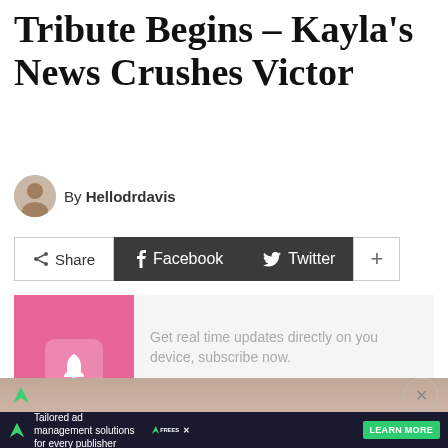Tribute Begins – Kayla's News Crushes Victor
By Hellodrdavis
[Figure (infographic): Social share bar with Share, Facebook, Twitter, and + buttons]
[Figure (infographic): Subscribe notification widget with pink left panel showing bell icon, and text: Get real time updates directly on you device, subscribe now. Subscribe button in pink.]
[Figure (infographic): Bottom ad banner: Tailored ad management solutions for every publisher. Freestaq logo with Learn More button. Close X button on bottom bar.]